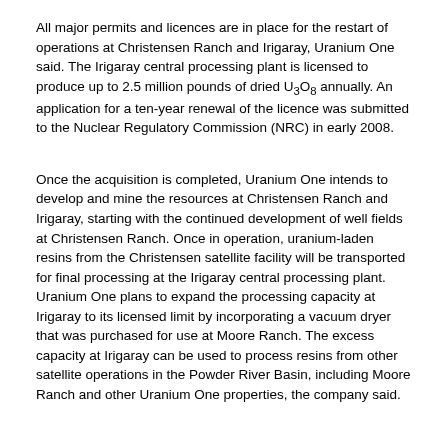All major permits and licences are in place for the restart of operations at Christensen Ranch and Irigaray, Uranium One said. The Irigaray central processing plant is licensed to produce up to 2.5 million pounds of dried U3O8 annually. An application for a ten-year renewal of the licence was submitted to the Nuclear Regulatory Commission (NRC) in early 2008.
Once the acquisition is completed, Uranium One intends to develop and mine the resources at Christensen Ranch and Irigaray, starting with the continued development of well fields at Christensen Ranch. Once in operation, uranium-laden resins from the Christensen satellite facility will be transported for final processing at the Irigaray central processing plant. Uranium One plans to expand the processing capacity at Irigaray to its licensed limit by incorporating a vacuum dryer that was purchased for use at Moore Ranch. The excess capacity at Irigaray can be used to process resins from other satellite operations in the Powder River Basin, including Moore Ranch and other Uranium One properties, the company said.